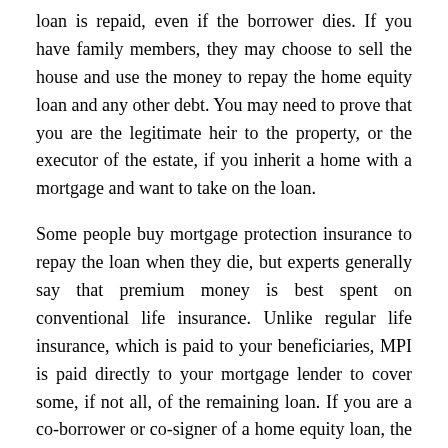loan is repaid, even if the borrower dies. If you have family members, they may choose to sell the house and use the money to repay the home equity loan and any other debt. You may need to prove that you are the legitimate heir to the property, or the executor of the estate, if you inherit a home with a mortgage and want to take on the loan.
Some people buy mortgage protection insurance to repay the loan when they die, but experts generally say that premium money is best spent on conventional life insurance. Unlike regular life insurance, which is paid to your beneficiaries, MPI is paid directly to your mortgage lender to cover some, if not all, of the remaining loan. If you are a co-borrower or co-signer of a home equity loan, the loan does not expire at the time of your death.
References